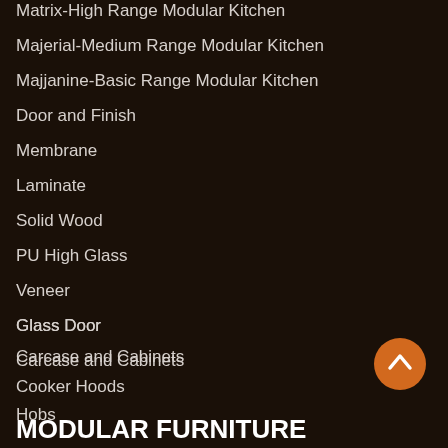Matrix-High Range Modular Kitchen
Majerial-Medium Range Modular Kitchen
Majjanine-Basic Range Modular Kitchen
Door and Finish
Membrane
Laminate
Solid Wood
PU High Glass
Veneer
Glass Door
Carcase and Cabinets
Cooker Hoods
Hobs
Built in Oven
Built in Microware
MODULAR FURNITURE